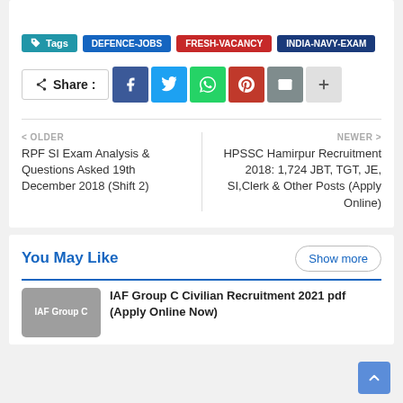Tags | DEFENCE-JOBS | FRESH-VACANCY | INDIA-NAVY-EXAM
Share : [Facebook] [Twitter] [WhatsApp] [Pinterest] [Email] [+]
< OLDER
RPF SI Exam Analysis & Questions Asked 19th December 2018 (Shift 2)
NEWER >
HPSSC Hamirpur Recruitment 2018: 1,724 JBT, TGT, JE, SI,Clerk & Other Posts (Apply Online)
You May Like
Show more
IAF Group C Civilian Recruitment 2021 pdf (Apply Online Now)